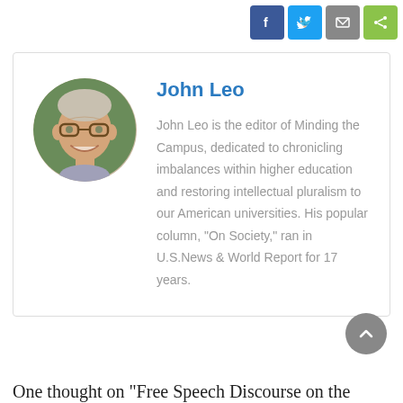[Figure (other): Social sharing buttons: Facebook (blue), Twitter (light blue), Email (grey), Share (green)]
[Figure (photo): Circular portrait photo of John Leo, an older man with glasses, smiling, with green foliage background]
John Leo
John Leo is the editor of Minding the Campus, dedicated to chronicling imbalances within higher education and restoring intellectual pluralism to our American universities. His popular column, "On Society," ran in U.S.News & World Report for 17 years.
[Figure (other): Scroll-to-top circular button with chevron up icon]
One thought on "Free Speech Discourse on the